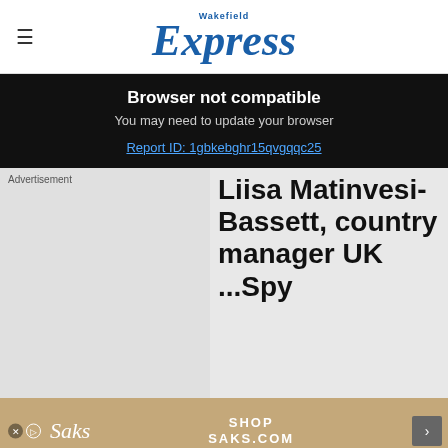Wakefield Express
Browser not compatible
You may need to update your browser
Report ID: 1gbkebghr15qvgqqc25
Advertisement
Liisa Matinvesi-Bassett, country manager UK ...Spy
[Figure (photo): Saks Fifth Avenue advertisement banner with Saks logo, cake image, and 'SHOP SAKS.COM' text]
Get 70% fewer ads. Start your 2-month trial for just £2 per month
Subscribe Today